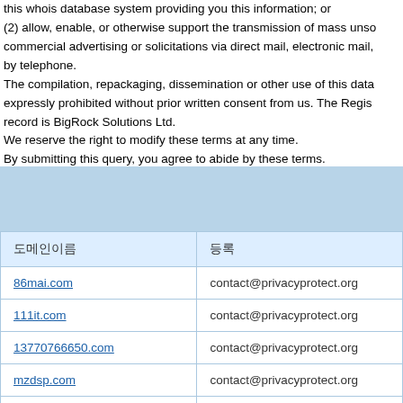this whois database system providing you this information; or (2) allow, enable, or otherwise support the transmission of mass unsolicited commercial advertising or solicitations via direct mail, electronic mail, by telephone. The compilation, repackaging, dissemination or other use of this data is expressly prohibited without prior written consent from us. The Registrar of record is BigRock Solutions Ltd. We reserve the right to modify these terms at any time. By submitting this query, you agree to abide by these terms.
| 도메인이름 | 등록 |
| --- | --- |
| 86mai.com | contact@privacyprotect.org |
| 111it.com | contact@privacyprotect.org |
| 13770766650.com | contact@privacyprotect.org |
| mzdsp.com | contact@privacyprotect.org |
| 31dns.com | contact@privacyprotect.org |